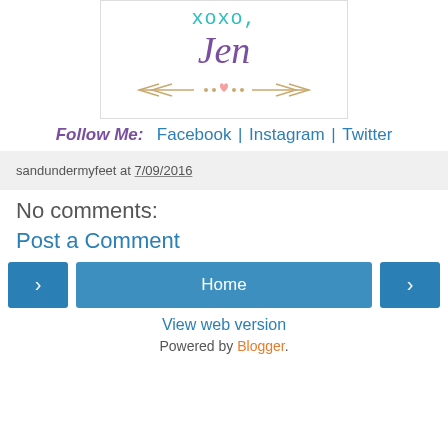[Figure (illustration): Blog signature graphic with 'xoxo, Jen' text in teal/purple with arrow decorations and small heart]
Follow Me:  Facebook | Instagram | Twitter
sandundermyfeet at 7/09/2016
No comments:
Post a Comment
Home
View web version
Powered by Blogger.